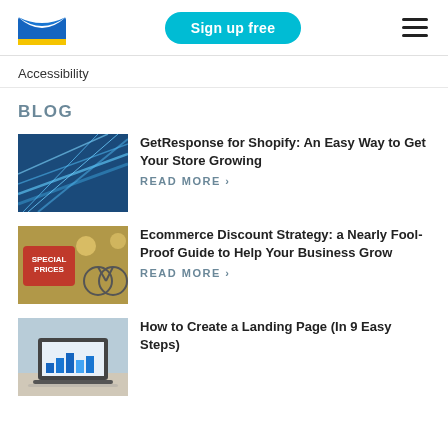GetResponse logo | Sign up free | Menu
Accessibility
BLOG
[Figure (photo): Abstract blue streaks of light, fiber optic or water motion blur]
GetResponse for Shopify: An Easy Way to Get Your Store Growing
READ MORE ›
[Figure (photo): Store with Special Prices sign, bicycles in background]
Ecommerce Discount Strategy: a Nearly Fool-Proof Guide to Help Your Business Grow
READ MORE ›
[Figure (photo): Laptop computer on desk with analytics/dashboard displayed]
How to Create a Landing Page (In 9 Easy Steps)